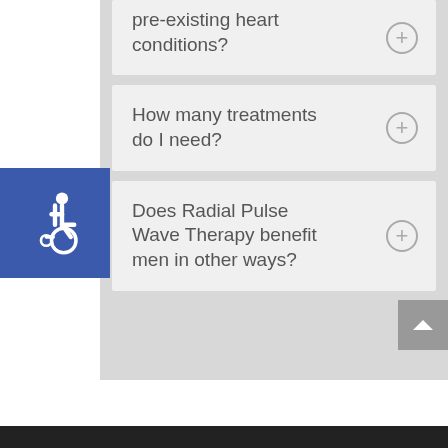[Figure (illustration): Wheelchair accessibility icon — white figure in wheelchair on blue square background]
pre-existing heart conditions?
How many treatments do I need?
Does Radial Pulse Wave Therapy benefit men in other ways?